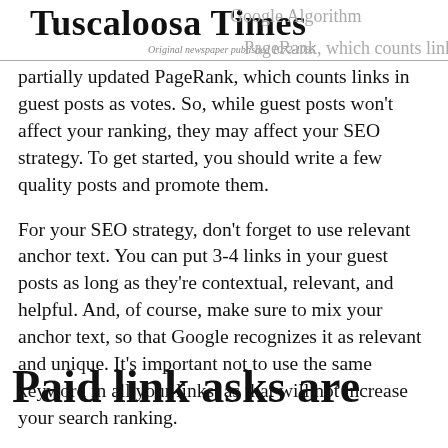Tuscaloosa Times — Original newspaper published 1072-1095
partially updated PageRank, which counts links in guest posts as votes. So, while guest posts won't affect your ranking, they may affect your SEO strategy. To get started, you should write a few quality posts and promote them.
For your SEO strategy, don't forget to use relevant anchor text. You can put 3-4 links in your guest posts as long as they're contextual, relevant, and helpful. And, of course, make sure to mix your anchor text, so that Google recognizes it as relevant and unique. It's important not to use the same keyword in all your links, as that will not increase your search ranking.
Paid link asks are